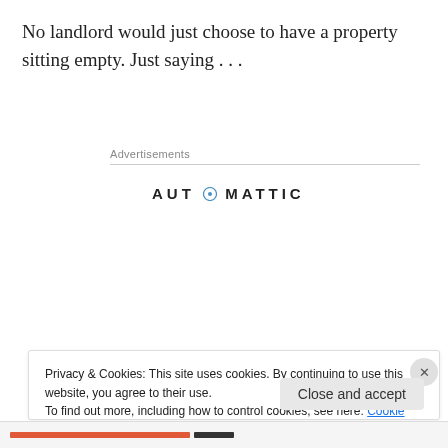No landlord would just choose to have a property sitting empty. Just saying . . .
Advertisements
[Figure (logo): Automattic logo with circular icon and text AUTOMATTIC in spaced caps]
[Figure (infographic): Automattic advertisement: Build a better web and a better world. Apply button and photo of person thinking.]
Privacy & Cookies: This site uses cookies. By continuing to use this website, you agree to their use.
To find out more, including how to control cookies, see here: Cookie Policy
Close and accept